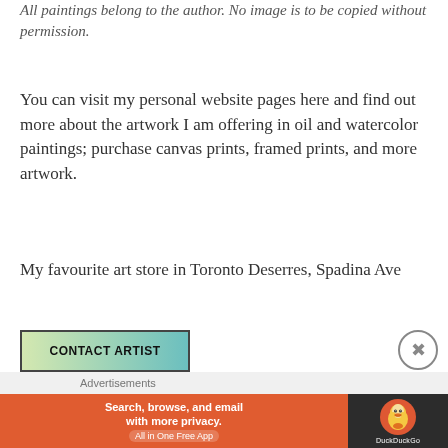All paintings belong to the author. No image is to be copied without permission.
You can visit my personal website pages here and find out more about the artwork I am offering in oil and watercolor paintings; purchase canvas prints, framed prints, and more artwork.
My favourite art store in Toronto Deserres, Spadina Ave
CONTACT ARTIST
Advertisements
[Figure (screenshot): DuckDuckGo advertisement banner: orange left section with text 'Search, browse, and email with more privacy. All in One Free App', dark right section with DuckDuckGo duck logo and brand name.]